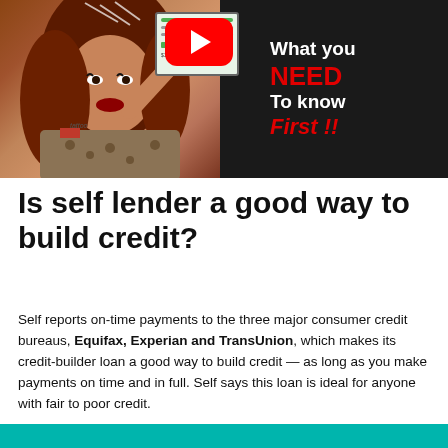[Figure (screenshot): YouTube video thumbnail showing a woman pointing upward with text 'What you NEED To know First !!' on dark background with red YouTube play button]
Is self lender a good way to build credit?
Self reports on-time payments to the three major consumer credit bureaus, Equifax, Experian and TransUnion, which makes its credit-builder loan a good way to build credit — as long as you make payments on time and in full. Self says this loan is ideal for anyone with fair to poor credit.